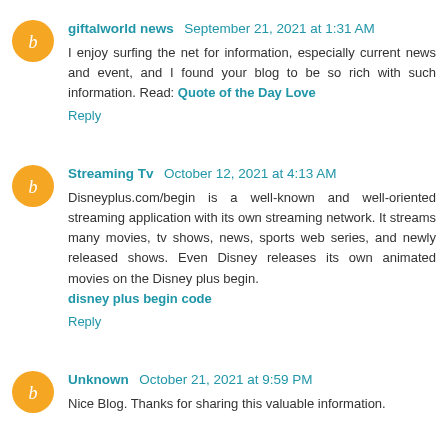giftalworld news September 21, 2021 at 1:31 AM
I enjoy surfing the net for information, especially current news and event, and I found your blog to be so rich with such information. Read: Quote of the Day Love
Reply
Streaming Tv October 12, 2021 at 4:13 AM
Disneyplus.com/begin is a well-known and well-oriented streaming application with its own streaming network. It streams many movies, tv shows, news, sports web series, and newly released shows. Even Disney releases its own animated movies on the Disney plus begin.
disney plus begin code
Reply
Unknown October 21, 2021 at 9:59 PM
Nice Blog. Thanks for sharing this valuable information.